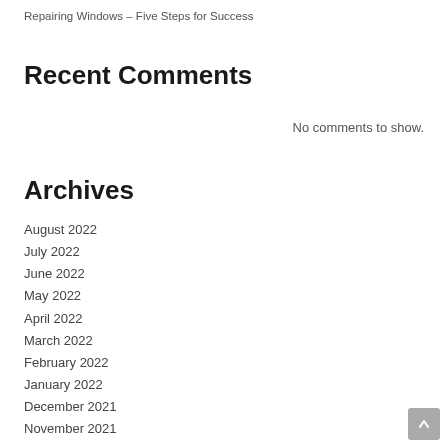Repairing Windows – Five Steps for Success
Recent Comments
No comments to show.
Archives
August 2022
July 2022
June 2022
May 2022
April 2022
March 2022
February 2022
January 2022
December 2021
November 2021